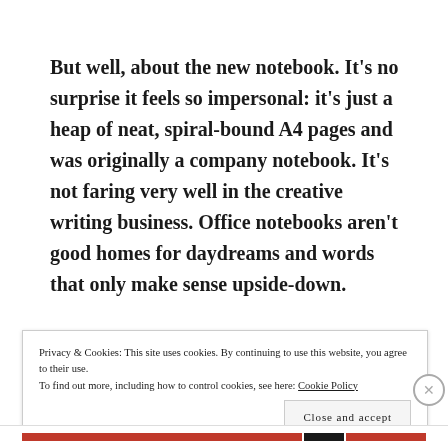But well, about the new notebook. It's no surprise it feels so impersonal: it's just a heap of neat, spiral-bound A4 pages and was originally a company notebook. It's not faring very well in the creative writing business. Office notebooks aren't good homes for daydreams and words that only make sense upside-down.
Privacy & Cookies: This site uses cookies. By continuing to use this website, you agree to their use.
To find out more, including how to control cookies, see here: Cookie Policy
Close and accept